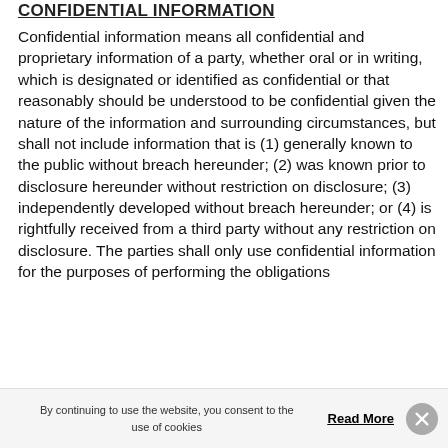CONFIDENTIAL INFORMATION
Confidential information means all confidential and proprietary information of a party, whether oral or in writing, which is designated or identified as confidential or that reasonably should be understood to be confidential given the nature of the information and surrounding circumstances, but shall not include information that is (1) generally known to the public without breach hereunder; (2) was known prior to disclosure hereunder without restriction on disclosure; (3) independently developed without breach hereunder; or (4) is rightfully received from a third party without any restriction on disclosure. The parties shall only use confidential information for the purposes of performing the obligations
By continuing to use the website, you consent to the use of cookies   Read More